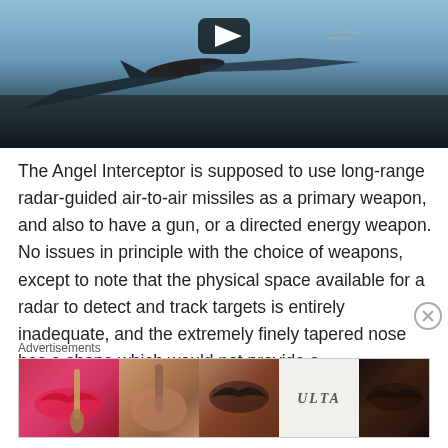[Figure (screenshot): Video thumbnail showing aircraft/missile silhouette against a blue-grey sky with YouTube-style play button overlay]
The Angel Interceptor is supposed to use long-range radar-guided air-to-air missiles as a primary weapon, and also to have a gun, or a directed energy weapon. No issues in principle with the choice of weapons, except to note that the physical space available for a radar to detect and track targets is entirely inadequate, and the extremely finely tapered nose has a shape which would not provide a
Advertisements
[Figure (photo): Ulta Beauty advertisement banner showing makeup and beauty product imagery with SHOP NOW call to action]